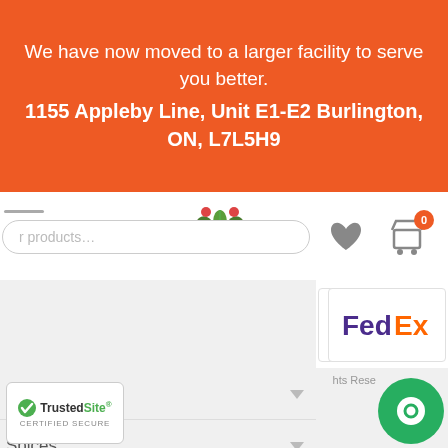We have now moved to a larger facility to serve you better.
1155 Appleby Line, Unit E1-E2 Burlington, ON, L7L5H9
[Figure (screenshot): Website screenshot showing navigation bar with search box, heart icon, shopping cart with badge showing 0, FedEx shipping logo, menu items including Spices and eas (partial), TrustedSite certified secure badge, rights reserved text, and green chat button]